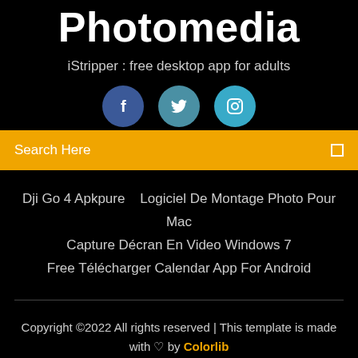Photomedia
iStripper : free desktop app for adults
[Figure (illustration): Three social media icons: Facebook (dark blue circle with 'f'), Twitter (teal circle with bird icon), Instagram (light blue circle with camera icon)]
Search Here
Dji Go 4 Apkpure
Logiciel De Montage Photo Pour Mac
Capture Décran En Video Windows 7
Free Télécharger Calendar App For Android
Copyright ©2022 All rights reserved | This template is made with ♡ by Colorlib